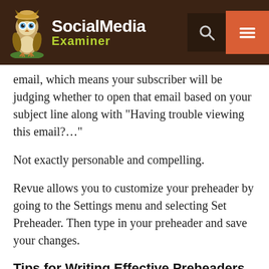Social Media Examiner
email, which means your subscriber will be judging whether to open that email based on your subject line along with “Having trouble viewing this email?…”
Not exactly personable and compelling.
Revue allows you to customize your preheader by going to the Settings menu and selecting Set Preheader. Then type in your preheader and save your changes.
Tips for Writing Effective Preheaders
Your subscribers view your preheader at the same